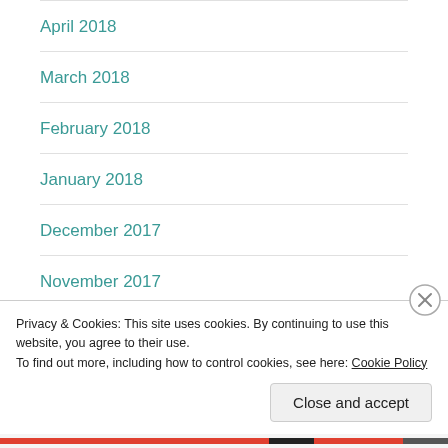April 2018
March 2018
February 2018
January 2018
December 2017
November 2017
October 2017
Privacy & Cookies: This site uses cookies. By continuing to use this website, you agree to their use.
To find out more, including how to control cookies, see here: Cookie Policy
Close and accept